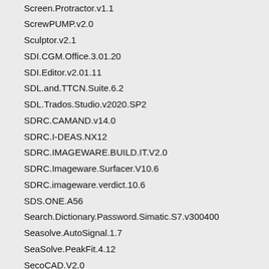Screen.Protractor.v1.1
ScrewPUMP.v2.0
Sculptor.v2.1
SDI.CGM.Office.3.01.20
SDI.Editor.v2.01.11
SDL.and.TTCN.Suite.6.2
SDL.Trados.Studio.v2020.SP2
SDRC.CAMAND.v14.0
SDRC.I-DEAS.NX12
SDRC.IMAGEWARE.BUILD.IT.V2.0
SDRC.Imageware.Surfacer.V10.6
SDRC.imageware.verdict.10.6
SDS.ONE.A56
Search.Dictionary.Password.Simatic.S7.v300400
Seasolve.AutoSignal.1.7
SeaSolve.PeakFit.4.12
SecoCAD.V2.0
Section.Maker.v8.51
Secure.Hydraulics.2020
Security.Manager.for.SDE.v2.0.47
Sedimetrics.Digital.Gravelometer.v1.0
SEE.Building.LT.v2005.Build.57
SEE.Electrical.V7R2
Seemage.v3.2
Seep3D.v5.0